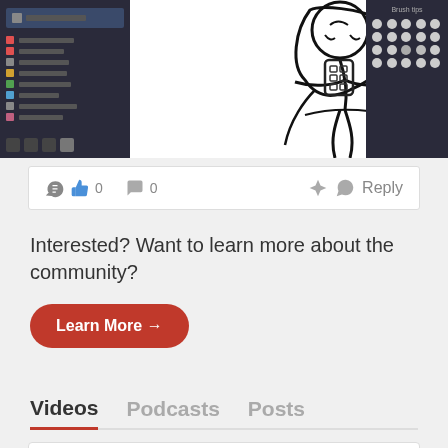[Figure (screenshot): Screenshot of a digital art application showing a stylized drawing of a figure/character with a dark panel on the left showing layer controls, white canvas area in the center with black line art, and a dark panel on the right showing pattern/brush options.]
👍 0   💬 0   Reply
Interested? Want to learn more about the community?
Learn More →
Videos   Podcasts   Posts
Amy_Etc @Amy_Etc